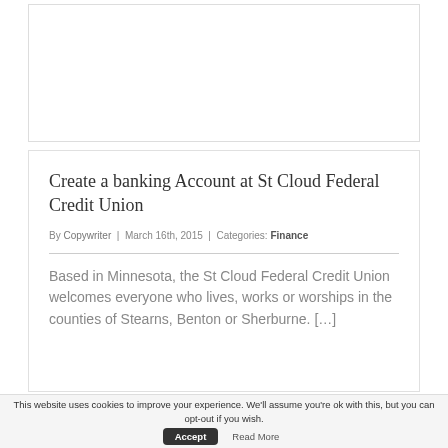[Figure (other): Blank white image/advertisement placeholder area with light border]
Create a banking Account at St Cloud Federal Credit Union
By Copywriter | March 16th, 2015 | Categories: Finance
Based in Minnesota, the St Cloud Federal Credit Union welcomes everyone who lives, works or worships in the counties of Stearns, Benton or Sherburne. […]
This website uses cookies to improve your experience. We'll assume you're ok with this, but you can opt-out if you wish. Accept  Read More